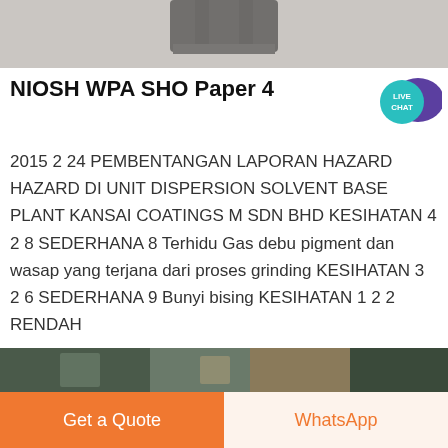[Figure (photo): Top partial image showing a dark object on a gray carpet/surface background]
NIOSH WPA SHO Paper 4
[Figure (logo): Live Chat speech bubble badge in teal and purple]
2015 2 24 PEMBENTANGAN LAPORAN HAZARD HAZARD DI UNIT DISPERSION SOLVENT BASE PLANT KANSAI COATINGS M SDN BHD KESIHATAN 4 2 8 SEDERHANA 8 Terhidu Gas debu pigment dan wasap yang terjana dari proses grinding KESIHATAN 3 2 6 SEDERHANA 9 Bunyi bising KESIHATAN 1 2 2 RENDAH
[Figure (other): Get Price button — dark red rectangle]
[Figure (photo): Bottom partial image strip showing blurred outdoor/people scene]
Get a Quote | WhatsApp